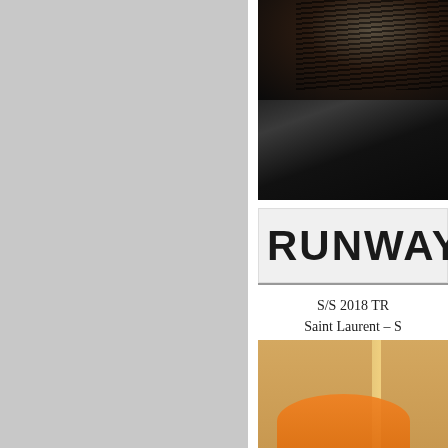[Figure (photo): Dark fashion runway photo showing black feathered/fur garment detail against dark fabric background]
RUNWAY
S/S 2018 TR
Saint Laurent – S
[Figure (photo): Fashion runway photo showing a model's hand with bracelets holding an orange handbag, wearing a beige outfit with colorful print top]